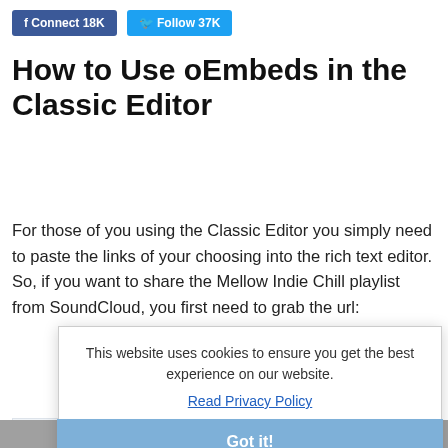f Connect 18K   Twitter Follow 37K
How to Use oEmbeds in the Classic Editor
For those of you using the Classic Editor you simply need to paste the links of your choosing into the rich text editor. So, if you want to share the Mellow Indie Chill playlist from SoundCloud, you first need to grab the url:
https://soundcloud.com/soundsceyasgets
This website uses cookies to ensure you get the best experience on our website.
Read Privacy Policy
Got it!
Then paste it into the main text area and you'll see this: